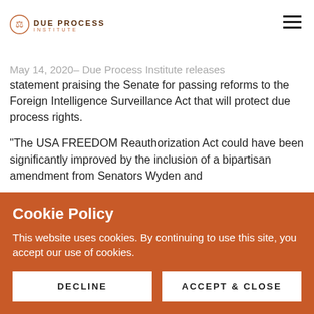Surveillance of Americans
DUE PROCESS INSTITUTE
May 14, 2020– Due Process Institute releases statement praising the Senate for passing reforms to the Foreign Intelligence Surveillance Act that will protect due process rights.
“The USA FREEDOM Reauthorization Act could have been significantly improved by the inclusion of a bipartisan amendment from Senators Wyden and
Cookie Policy
This website uses cookies. By continuing to use this site, you accept our use of cookies.
DECLINE
ACCEPT & CLOSE